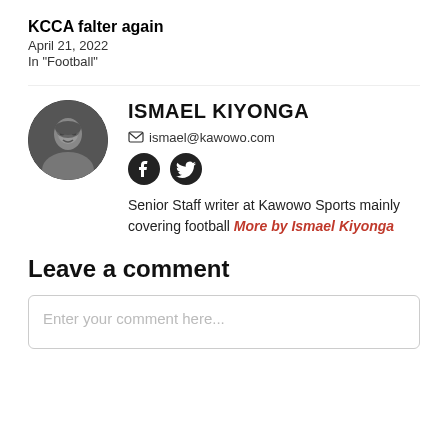KCCA falter again
April 21, 2022
In "Football"
ISMAEL KIYONGA
ismael@kawowo.com
Senior Staff writer at Kawowo Sports mainly covering football More by Ismael Kiyonga
Leave a comment
Enter your comment here...